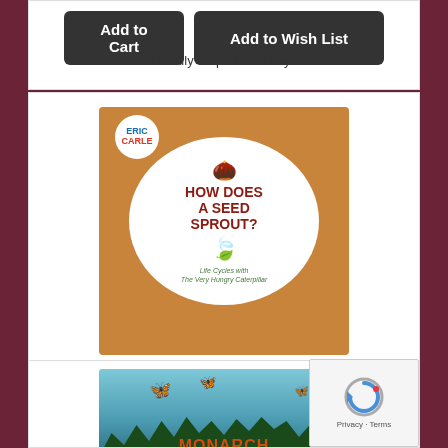Usually Ships in 5-7 days
[Figure (illustration): Book cover: How Does a Seed Sprout? Life Cycles with The Very Hungry Caterpillar by Eric Carle. Orange/wood-grain background with large white circle, acorn illustration at top, green leaf, text in dark red and green.]
How Does a Seed Sprout?: Life Cycles with The Very Hungry Caterpillar (The World of Eric Carle) (Board book)
By Eric Carle, Eric Carle (Illustrator)
$4.99
Add to Cart
Add to Wish List
Usually Ships in 5-7 days
[Figure (illustration): Partial view of Monarch Butterflies book cover with blue/teal background and orange monarch butterflies, trees in foreground. Partially obscured by reCAPTCHA overlay.]
[Figure (other): Google reCAPTCHA widget showing refresh icon with Privacy and Terms links]